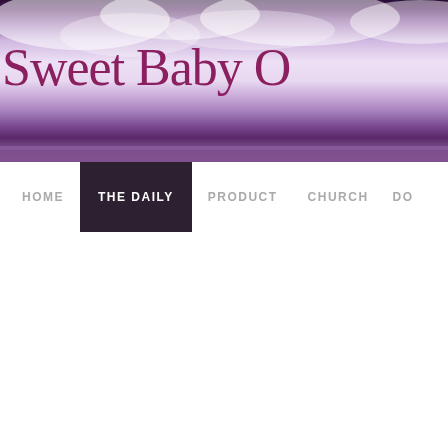[Figure (photo): Website header image with purple and dark violet cloudy/smoky background]
Sweet Baby O
HOME | THE DAILY | PRODUCT | CHURCH | DO...